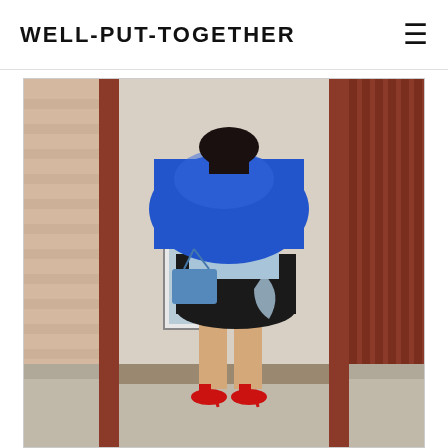WELL-PUT-TOGETHER
[Figure (photo): Fashion photo of a woman from behind wearing a bright blue bomber jacket, light blue shirt, black flared skirt, carrying a blue bag, and wearing red high heel pumps. She is standing between a brick wall and red wooden slat fence/gate on a sidewalk.]